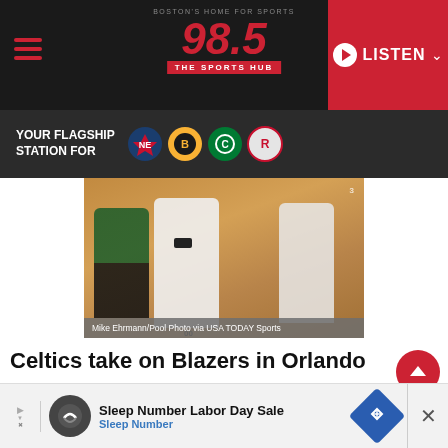[Figure (logo): 98.5 The Sports Hub radio station header with hamburger menu, logo, and LISTEN button]
[Figure (infographic): YOUR FLAGSHIP STATION FOR banner with Patriots, Bruins, Celtics, and Revolution team logos]
[Figure (photo): NBA basketball game photo showing Celtics and Trail Blazers players on court, with caption: Mike Ehrmann/Pool Photo via USA TODAY Sports]
Mike Ehrmann/Pool Photo via USA TODAY Sports
Celtics take on Blazers in Orlando
Share
[Figure (infographic): Sleep Number Labor Day Sale advertisement with Sleep Number logo and navigation arrow icon]
Sleep Number Labor Day Sale
Sleep Number